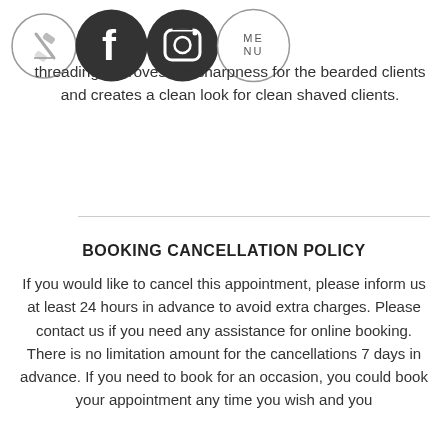[Figure (illustration): Four circular icons in a row: (1) a thin-outlined circle with a razor/scissors icon, (2) a dark filled circle with Facebook 'f' logo, (3) a dark filled circle with Instagram camera logo, (4) a thin-outlined circle with text 'ME NU']
Threading the eyebrow and upper cheek threading, upper lip threading improves the sharpness for the bearded clients and creates a clean look for clean shaved clients.
BOOKING CANCELLATION POLICY
If you would like to cancel this appointment, please inform us at least 24 hours in advance to avoid extra charges. Please contact us if you need any assistance for online booking. There is no limitation amount for the cancellations 7 days in advance. If you need to book for an occasion, you could book your appointment any time you wish and you